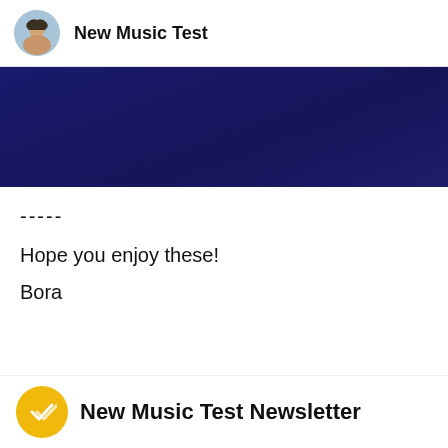New Music Test
[Figure (other): Dark navy blue banner/header image]
-----
Hope you enjoy these!
Bora
New Music Test Newsletter